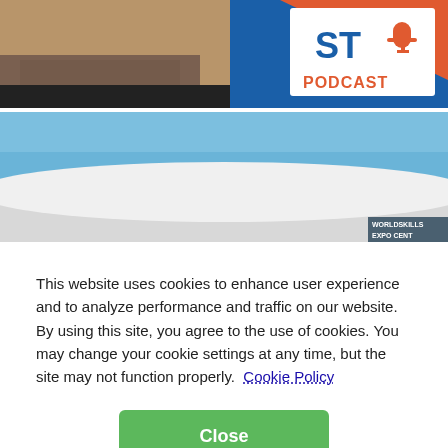[Figure (photo): Close-up of a man's face (lower portion with beard) against a blue/orange background with a white logo box showing 'ST PODCAST' with a microphone icon in blue and orange colors]
[Figure (photo): Outdoor photo showing a large white curved structure or building under a clear blue sky, with text 'EXPO CENT' visible in the bottom right corner]
This website uses cookies to enhance user experience and to analyze performance and traffic on our website. By using this site, you agree to the use of cookies. You may change your cookie settings at any time, but the site may not function properly.  Cookie Policy
Close